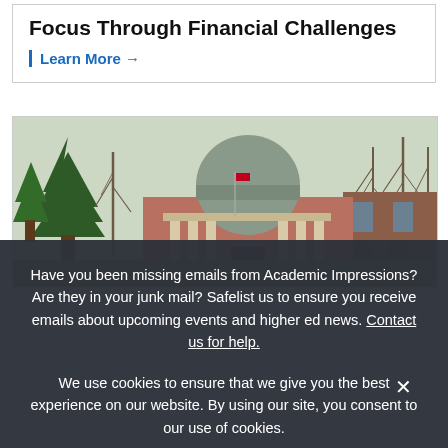Focus Through Financial Challenges
Learn More →
[Figure (photo): University building with a large dome, brick facade, columns at the entrance, surrounded by bare winter trees and evergreens]
Have you been missing emails from Academic Impressions? Are they in your junk mail? Safelist us to ensure you receive emails about upcoming events and higher ed news. Contact us for help.
We use cookies to ensure that we give you the best experience on our website. By using our site, you consent to our use of cookies.
Ok